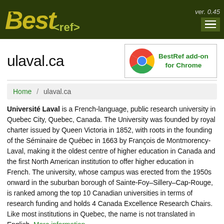Best<ref> ver. 0.45
ulaval.ca
[Figure (logo): BestRef add-on for Chrome advertisement box with Chrome browser icon]
Home / ulaval.ca
Université Laval is a French-language, public research university in Quebec City, Quebec, Canada. The University was founded by royal charter issued by Queen Victoria in 1852, with roots in the founding of the Séminaire de Québec in 1663 by François de Montmorency-Laval, making it the oldest centre of higher education in Canada and the first North American institution to offer higher education in French. The university, whose campus was erected from the 1950s onward in the suburban borough of Sainte-Foy–Sillery–Cap-Rouge, is ranked among the top 10 Canadian universities in terms of research funding and holds 4 Canada Excellence Research Chairs. Like most institutions in Quebec, the name is not translated in English. More information